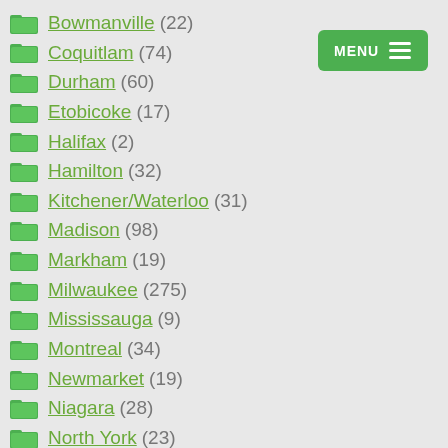Bowmanville (22)
Coquitlam (74)
Durham (60)
Etobicoke (17)
Halifax (2)
Hamilton (32)
Kitchener/Waterloo (31)
Madison (98)
Markham (19)
Milwaukee (275)
Mississauga (9)
Montreal (34)
Newmarket (19)
Niagara (28)
North York (23)
Oakville (34)
Okanagan Valley (50)